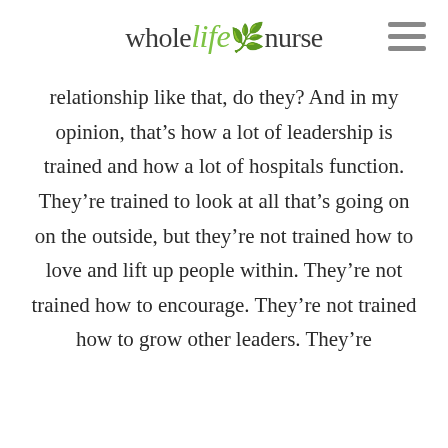whole life nurse
relationship like that, do they? And in my opinion, that’s how a lot of leadership is trained and how a lot of hospitals function. They’re trained to look at all that’s going on on the outside, but they’re not trained how to love and lift up people within. They’re not trained how to encourage. They’re not trained how to grow other leaders. They’re